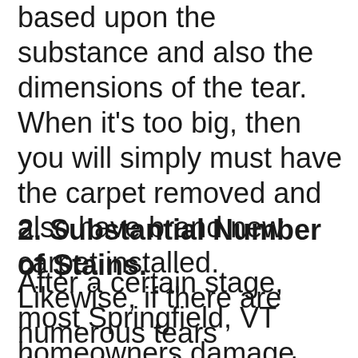based upon the substance and also the dimensions of the tear. When it's too big, then you will simply must have the carpet removed and also have brand new carpet installed. Likewise, if there are numerous tears throughout the carpeting, then a brand new installation is best.
2. Substantial Number of Stains.
After a certain stage, most Springfield, VT homeowners damage their carpeting at least once. Some spots can be eliminated with home remedies or with assistance from a